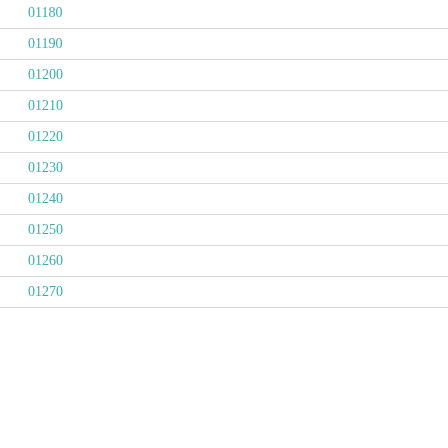01180
01190
01200
01210
01220
01230
01240
01250
01260
01270